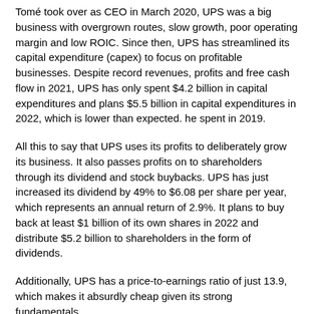Tomé took over as CEO in March 2020, UPS was a big business with overgrown routes, slow growth, poor operating margin and low ROIC. Since then, UPS has streamlined its capital expenditure (capex) to focus on profitable businesses. Despite record revenues, profits and free cash flow in 2021, UPS has only spent $4.2 billion in capital expenditures and plans $5.5 billion in capital expenditures in 2022, which is lower than expected. he spent in 2019.
All this to say that UPS uses its profits to deliberately grow its business. It also passes profits on to shareholders through its dividend and stock buybacks. UPS has just increased its dividend by 49% to $6.08 per share per year, which represents an annual return of 2.9%. It plans to buy back at least $1 billion of its own shares in 2022 and distribute $5.2 billion to shareholders in the form of dividends.
Additionally, UPS has a price-to-earnings ratio of just 13.9, which makes it absurdly cheap given its strong fundamentals.